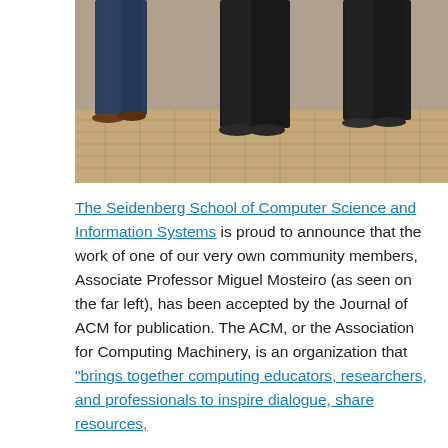[Figure (photo): Three people standing on a cobblestone surface, photographed from the waist down, wearing dark jeans and casual shoes.]
The Seidenberg School of Computer Science and Information Systems is proud to announce that the work of one of our very own community members, Associate Professor Miguel Mosteiro (as seen on the far left), has been accepted by the Journal of ACM for publication. The ACM, or the Association for Computing Machinery, is an organization that "brings together computing educators, researchers, and professionals to inspire dialogue, share resources,